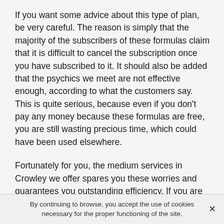If you want some advice about this type of plan, be very careful. The reason is simply that the majority of the subscribers of these formulas claim that it is difficult to cancel the subscription once you have subscribed to it. It should also be added that the psychics we meet are not effective enough, according to what the customers say. This is quite serious, because even if you don't pay any money because these formulas are free, you are still wasting precious time, which could have been used elsewhere.
Fortunately for you, the medium services in Crowley we offer spares you these worries and guarantees you outstanding efficiency. If you are not strong-minded and hard to fool, you can very easily be fooled by the misdirection of psychics or charlatans. So note that a free psychic reading can be useless in the end if the psychic's
By continuing to browse, you accept the use of cookies necessary for the proper functioning of the site.